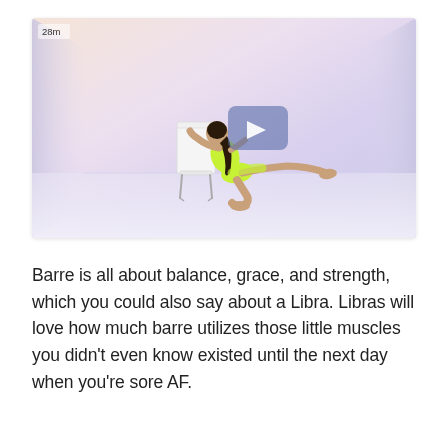[Figure (photo): Video thumbnail showing a woman in neon green workout outfit on her knees beside a white chair, extending one leg out to the side in a barre exercise pose. The room has a soft lavender-pink gradient background. A play button overlay is visible in the center. A '28m' timestamp is shown in the top-left corner.]
Barre is all about balance, grace, and strength, which you could also say about a Libra. Libras will love how much barre utilizes those little muscles you didn't even know existed until the next day when you're sore AF.